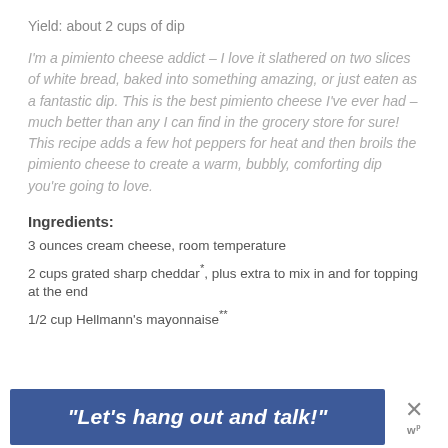Yield: about 2 cups of dip
I’m a pimiento cheese addict – I love it slathered on two slices of white bread, baked into something amazing, or just eaten as a fantastic dip. This is the best pimiento cheese I’ve ever had – much better than any I can find in the grocery store for sure! This recipe adds a few hot peppers for heat and then broils the pimiento cheese to create a warm, bubbly, comforting dip you’re going to love.
Ingredients:
3 ounces cream cheese, room temperature
2 cups grated sharp cheddar*, plus extra to mix in and for topping at the end
1/2 cup Hellmann’s mayonnaise**
[Figure (other): Advertisement banner with blue background and text: “Let’s hang out and talk!” with a close (X) button on the right]